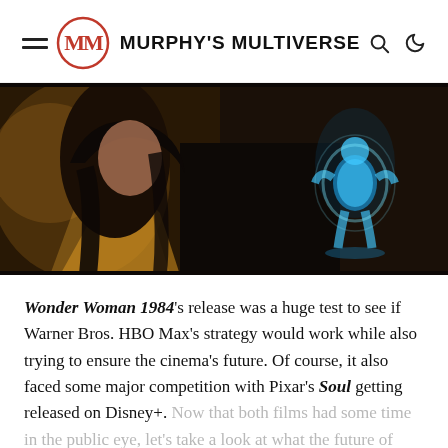Murphy's Multiverse
[Figure (photo): A still from Wonder Woman 1984 showing a woman with dark hair in an armored costume on the left, and a glowing blue holographic figure on the right against a dark background.]
Wonder Woman 1984's release was a huge test to see if Warner Bros. HBO Max's strategy would work while also trying to ensure the cinema's future. Of course, it also faced some major competition with Pixar's Soul getting released on Disney+. Now that both films had some time in the public eye, let's take a look at what the future of cinema and television might